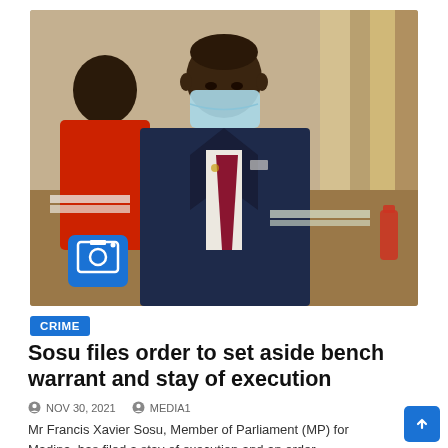[Figure (photo): Man in a navy blue suit wearing a light blue face mask and red tie, seated in what appears to be a parliamentary chamber. Another person in a red shirt is visible in the background.]
CRIME
Sosu files order to set aside bench warrant and stay of execution
NOV 30, 2021   MEDIA1
Mr Francis Xavier Sosu, Member of Parliament (MP) for Madina, has filed a stay of execution and an order